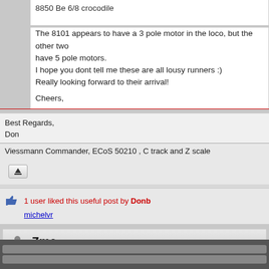8850 Be 6/8 crocodile
The 8101 appears to have a 3 pole motor in the loco, but the other two have 5 pole motors.
I hope you dont tell me these are all lousy runners :)
Really looking forward to their arrival!

Cheers,
Best Regards,
Don
Viessmann Commander, ECoS 50210 , C track and Z scale
1 user liked this useful post by Donb
michelvr
Zme
#6  Posted : 20 December 2021 04:56:06(UTC)
Hello. Hope all is well and welcome.